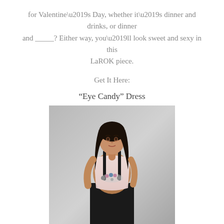for Valentine’s Day, whether it’s dinner and drinks, or dinner and _____? Either way, you’ll look sweet and sexy in this LaROK piece.
Get It Here:
“Eye Candy” Dress
[Figure (photo): A female model wearing a pink draped top with jeweled necklace detail and black high-waisted skirt, against a gray gradient background.]